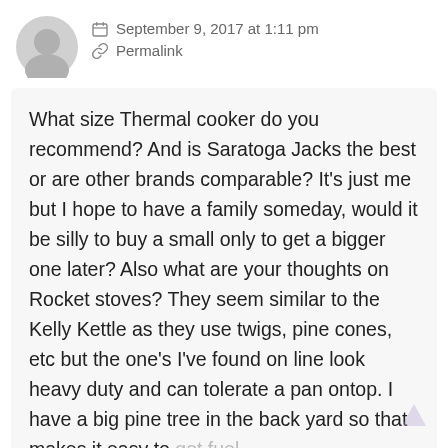September 9, 2017 at 1:11 pm
Permalink
What size Thermal cooker do you recommend? And is Saratoga Jacks the best or are other brands comparable? It's just me but I hope to have a family someday, would it be silly to buy a small only to get a bigger one later? Also what are your thoughts on Rocket stoves? They seem similar to the Kelly Kettle as they use twigs, pine cones, etc but the one's I've found on line look heavy duty and can tolerate a pan ontop. I have a big pine tree in the back yard so that makes it easy to get fuel.